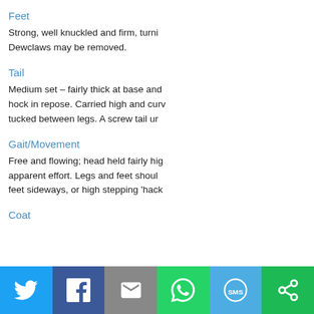Feet
Strong, well knuckled and firm, turni... Dewclaws may be removed.
Tail
Medium set – fairly thick at base and... hock in repose. Carried high and curv... tucked between legs. A screw tail ur...
Gait/Movement
Free and flowing; head held fairly hig... apparent effort. Legs and feet shoul... feet sideways, or high stepping 'hack...
Coat